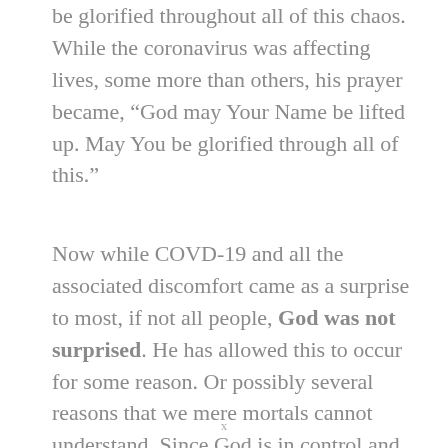be glorified throughout all of this chaos. While the coronavirus was affecting lives, some more than others, his prayer became, “God may Your Name be lifted up. May You be glorified through all of this.”
Now while COVD-19 and all the associated discomfort came as a surprise to most, if not all people, God was not surprised. He has allowed this to occur for some reason. Or possibly several reasons that we mere mortals cannot understand. Since God is in control and
x